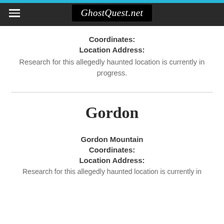GhostQuest.net
Coordinates:
Location Address:
Research for this allegedly haunted location is currently in progress.
Gordon
Gordon Mountain
Coordinates:
Location Address:
Research for this allegedly haunted location is currently in